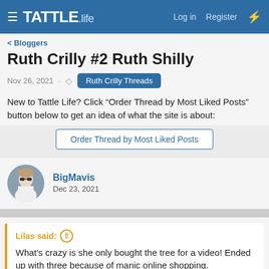TATTLE.life | Log in | Register
< Bloggers
Ruth Crilly #2 Ruth Shilly
Nov 26, 2021 · Ruth Crilly Threads
New to Tattle Life? Click "Order Thread by Most Liked Posts" button below to get an idea of what the site is about:
Order Thread by Most Liked Posts
BigMavis
Dec 23, 2021
Lilas said: ↑
What's crazy is she only bought the tree for a video! Ended up with three because of manic online shopping.